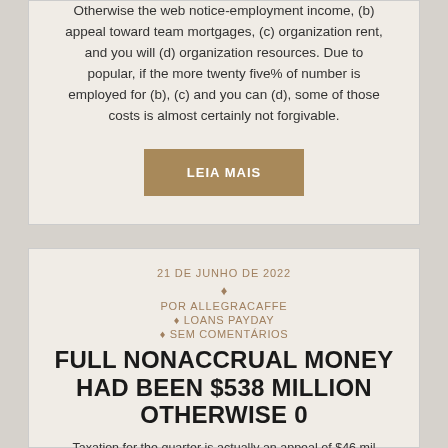Otherwise the web notice-employment income, (b) appeal toward team mortgages, (c) organization rent, and you will (d) organization resources. Due to popular, if the more twenty five% of number is employed for (b), (c) and you can (d), some of those costs is almost certainly not forgivable.
LEIA MAIS
21 DE JUNHO DE 2022
POR ALLEGRACAFFE
♦ LOANS PAYDAY
♦ SEM COMENTÁRIOS
FULL NONACCRUAL MONEY HAD BEEN $538 MILLION OTHERWISE 0
Taxation for the quarter is actually an appeal of $46 mil